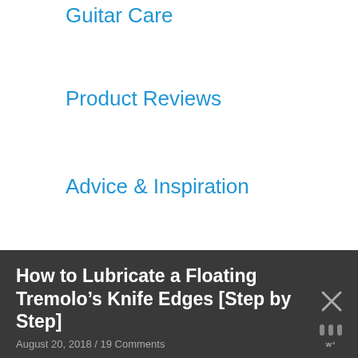Guitar Care
Product Reviews
Advice & Inspiration
How to Lubricate a Floating Tremolo’s Knife Edges [Step by Step]
August 20, 2018 / 19 Comments